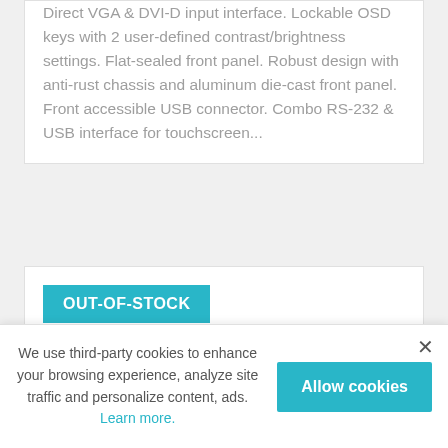Direct VGA & DVI-D input interface. Lockable OSD keys with 2 user-defined contrast/brightness settings. Flat-sealed front panel. Robust design with anti-rust chassis and aluminum die-cast front panel. Front accessible USB connector. Combo RS-232 & USB interface for touchscreen...
OUT-OF-STOCK
We use third-party cookies to enhance your browsing experience, analyze site traffic and personalize content, ads. Learn more.
Allow cookies